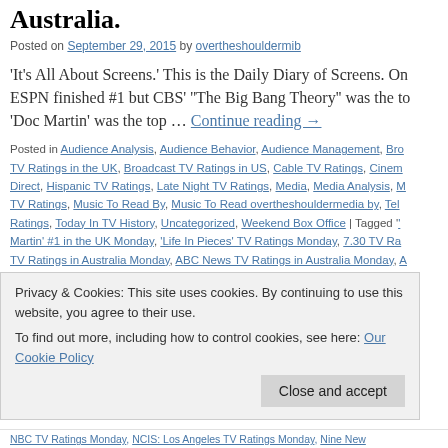Australia.
Posted on September 29, 2015 by overtheshouldermib
'It's All About Screens.' This is the Daily Diary of Screens. On ESPN finished #1 but CBS' ''The Big Bang Theory'' was the to 'Doc Martin' was the top … Continue reading →
Posted in Audience Analysis, Audience Behavior, Audience Management, Broadcast TV Ratings in the UK, Broadcast TV Ratings in US, Cable TV Ratings, Cinema Direct, Hispanic TV Ratings, Late Night TV Ratings, Media, Media Analysis, TV Ratings, Music To Read By, Music To Read overtheshouldermedia by, Television Ratings, Today In TV History, Uncategorized, Weekend Box Office | Tagged 'Doc Martin' #1 in the UK Monday, 'Life In Pieces' TV Ratings Monday, 7.30 TV Ratings in Australia Monday, ABC News TV Ratings in Australia Monday, TV Ratings Monday, Australian Story TV Ratings in Australia Monday, BBC One TV Ratings Monday in the UK, BBC Three TV Ratings in the UK Monday, BBC Blindspot TV Ratings Monday, Castle TV Ratings Monday, CBS TV Ratings Monday
Privacy & Cookies: This site uses cookies. By continuing to use this website, you agree to their use. To find out more, including how to control cookies, see here: Our Cookie Policy
NBC TV Ratings Monday, NCIS: Los Angeles TV Ratings Monday, Nine News